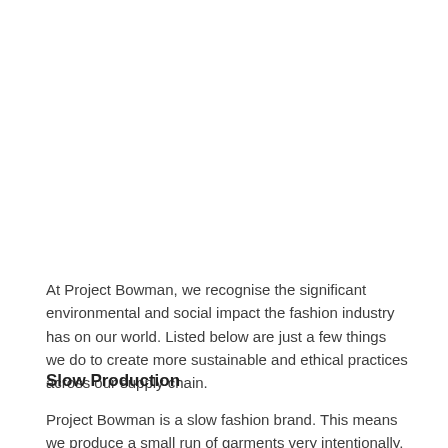At Project Bowman, we recognise the significant environmental and social impact the fashion industry has on our world. Listed below are just a few things we do to create more sustainable and ethical practices across our supply chain.
Slow Production
Project Bowman is a slow fashion brand. This means we produce a small run of garments very intentionally, at our own pace and at high